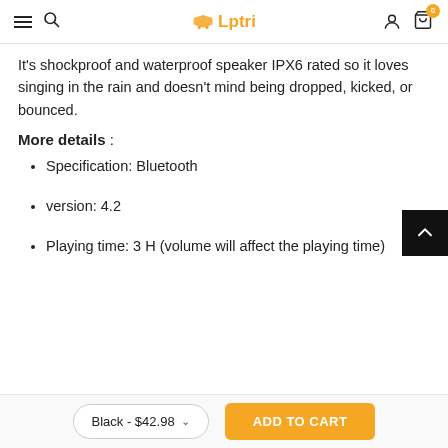Lptri — navigation bar with hamburger, search, logo, account, and cart icons
It's shockproof and waterproof speaker IPX6 rated so it loves singing in the rain and doesn't mind being dropped, kicked, or bounced.
More details :
Specification: Bluetooth
version: 4.2
Playing time: 3 H (volume will affect the playing time)
Black - $42.98 ∨   ADD TO CART